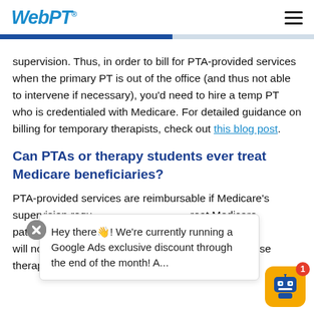WebPT
supervision. Thus, in order to bill for PTA-provided services when the primary PT is out of the office (and thus not able to intervene if necessary), you'd need to hire a temp PT who is credentialed with Medicare. For detailed guidance on billing for temporary therapists, check out this blog post.
Can PTAs or therapy students ever treat Medicare beneficiaries?
PTA-provided services are reimbursable if Medicare's supervision requirements are met. Students can treat Medicare patients, but their services are not directly reimbursable. A... will not provide payment... p... because therapy... s.